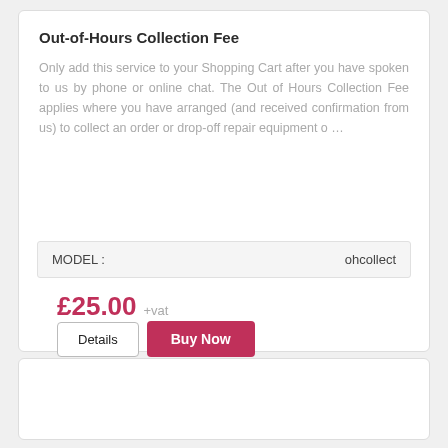Out-of-Hours Collection Fee
Only add this service to your Shopping Cart after you have spoken to us by phone or online chat. The Out of Hours Collection Fee applies where you have arranged (and received confirmation from us) to collect an order or drop-off repair equipment o …
| MODEL : | ohcollect |
| --- | --- |
£25.00 +vat
Details  Buy Now